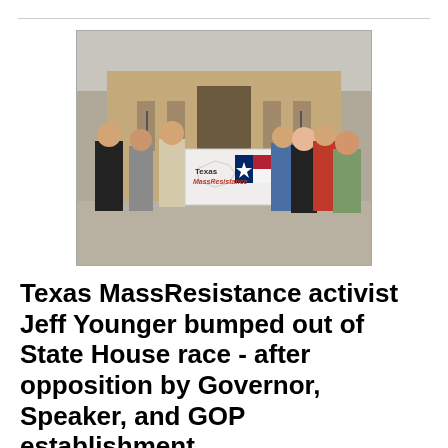[Figure (photo): Group of seven people standing in front of a stone building (Texas State Capitol), holding a white banner that reads 'Texas MassResistance' with a Texas flag graphic on it.]
Texas MassResistance activist Jeff Younger bumped out of State House race - after opposition by Governor, Speaker, and GOP establishment.